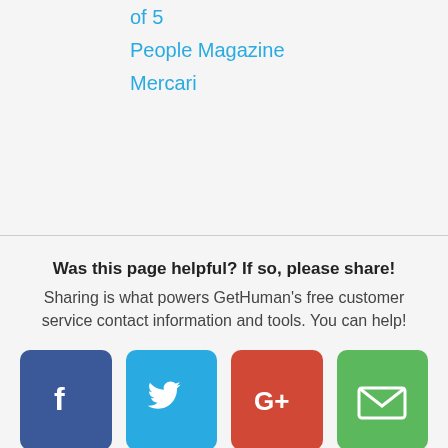of 5
People Magazine
Mercari
Was this page helpful? If so, please share! Sharing is what powers GetHuman's free customer service contact information and tools. You can help!
[Figure (infographic): Four social share buttons: Facebook (dark blue), Twitter (light blue), Google+ (red), Email (green)]
› TripAdvisor